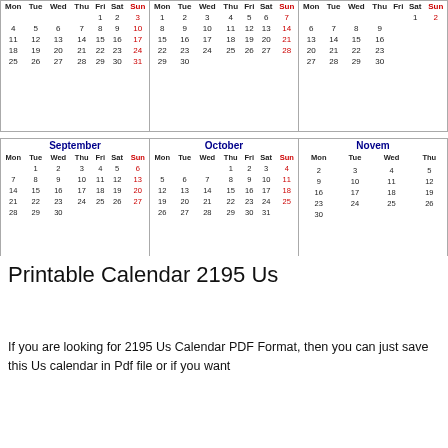[Figure (other): Partial calendar grid showing months (top row: partial months, bottom row: September, October, November) with Mon-Sun columns, dates, Sundays in red]
Printable Calendar 2195 Us
If you are looking for 2195 Us Calendar PDF Format, then you can just save this Us calendar in Pdf file or if you want